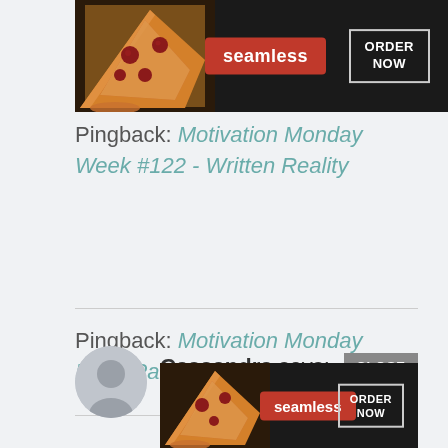[Figure (screenshot): Seamless food delivery advertisement banner showing pizza slices with red Seamless badge and ORDER NOW button on dark background]
Pingback: Motivation Monday Week #122 - Written Reality
Pingback: Motivation Monday Linky Party 122 - Mom Favorites
Cassandra says:
[Figure (screenshot): Seamless food delivery advertisement banner (bottom) showing pizza slices with red Seamless badge and ORDER NOW button on dark background]